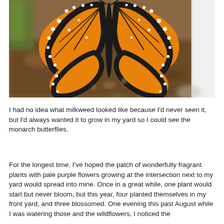[Figure (photo): A monarch butterfly with orange and black wings with white spots, photographed outdoors over a garden bed with mulch and brown soil. Green grass visible in the background. A white post or wall is partially visible on the right.]
I had no idea what milkweed looked like because I'd never seen it, but I'd always wanted it to grow in my yard so I could see the monarch butterflies.
For the longest time, I've hoped the patch of wonderfully fragrant plants with pale purple flowers growing at the intersection next to my yard would spread into mine. Once in a great while, one plant would start but never bloom, but this year, four planted themselves in my front yard, and three blossomed. One evening this past August while I was watering those and the wildflowers, I noticed the